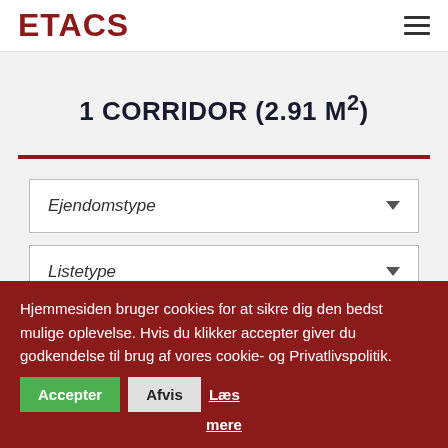ETACS
1 CORRIDOR (2.91 M²)
Ejendomstype
Listetype
Hjemmesiden bruger cookies for at sikre dig den bedst mulige oplevelse. Hvis du klikker accepter giver du godkendelse til brug af vores cookie- og Privatlivspolitik. Accepter Afvis Læs mere